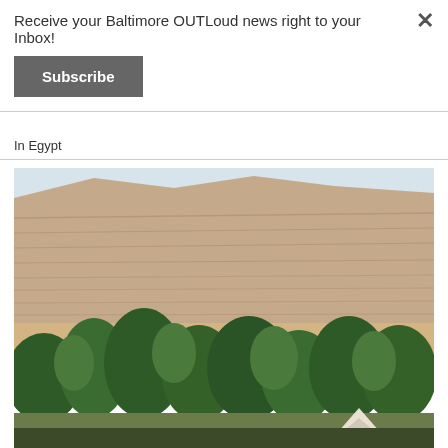Receive your Baltimore OUTLoud news right to your Inbox!
Subscribe
In Egypt
[Figure (photo): Landscape photo showing Egyptian desert cliffs/mountains in the background with green palm trees and vegetation in the foreground, and a white triangular structure visible at the bottom right.]